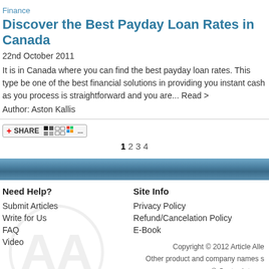Finance
Discover the Best Payday Loan Rates in Canada
22nd October 2011
It is in Canada where you can find the best payday loan rates. This type be one of the best financial solutions in providing you instant cash as you process is straightforward and you are... Read >
Author: Aston Kallis
[Figure (other): Social share button with icons including a red plus sign, SHARE text, and social media icons]
1 2 3 4
Need Help?
Submit Articles
Write for Us
FAQ
Video
Site Info
Privacy Policy
Refund/Cancelation Policy
E-Book
Copyright © 2012 Article Alle Other product and company names s © Oyster Interne